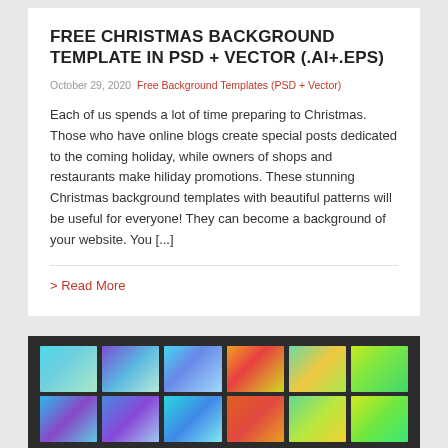FREE CHRISTMAS BACKGROUND TEMPLATE IN PSD + VECTOR (.AI+.EPS)
October 29, 2020  Free Background Templates (PSD + Vector)
Each of us spends a lot of time preparing to Christmas. Those who have online blogs create special posts dedicated to the coming holiday, while owners of shops and restaurants make hiliday promotions. These stunning Christmas background templates with beautiful patterns will be useful for everyone! They can become a background of your website. You [...]
> Read More
[Figure (illustration): Grid of 12 colorful gradient thumbnail images arranged in 2 rows of 6, displayed on a dark background panel at the bottom of the page.]